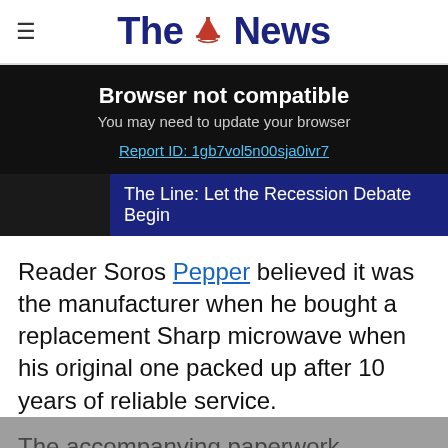The News
Browser not compatible
You may need to update your browser
Report ID: 1gb7vol5n00sja0ivr7
The Line: Let the Recession Debate Begin
Reader Soros Pepper believed it was the manufacturer when he bought a replacement Sharp microwave when his original one packed up after 10 years of reliable service.
The accompanying paperwork confirmed it was